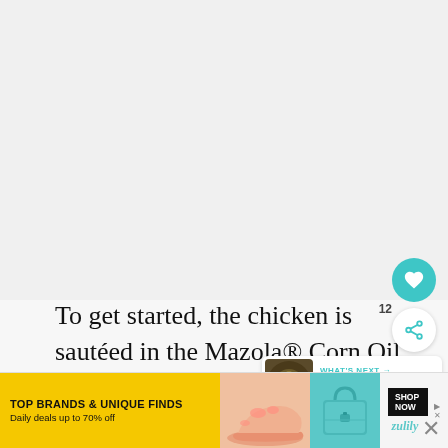[Figure (photo): Large food/recipe photo area (top portion of page, light gray placeholder)]
To get started, the chicken is sautéed in the Mazola® Corn Oil with a little garlic and ginger. The spices combine nicely to give the chicken a traditional stir-fry flavor, due to the fact that Mazola® Corn Oil has a neutral taste that lets
[Figure (infographic): WHAT'S NEXT → Cracklin' Chicken wit... thumbnail widget with teal circle food image]
[Figure (screenshot): Advertisement banner: TOP BRANDS & UNIQUE FINDS Daily deals up to 70% off - zulily ad with yellow background, shoe and purse images, SHOP NOW button]